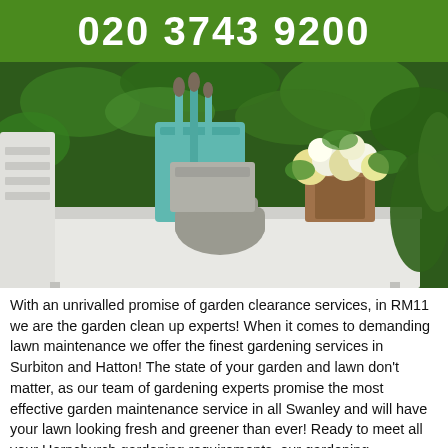020 3743 9200
[Figure (photo): Garden tools, gloves, and flower arrangements on a white outdoor table with green foliage background]
With an unrivalled promise of garden clearance services, in RM11 we are the garden clean up experts! When it comes to demanding lawn maintenance we offer the finest gardening services in Surbiton and Hatton! The state of your garden and lawn don't matter, as our team of gardening experts promise the most effective garden maintenance service in all Swanley and will have your lawn looking fresh and greener than ever! Ready to meet all your Hornchurch gardening requirements, our gardening professionals are capable of delivering you the